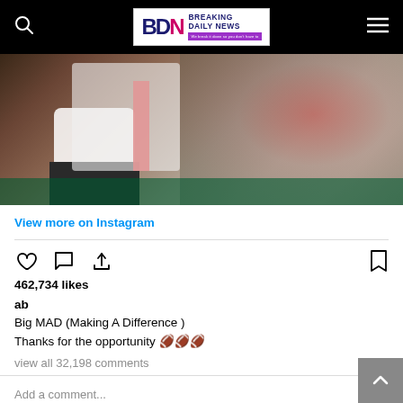BDN Breaking Daily News
[Figure (photo): NFL football player in white uniform with white gloves and red jersey stripe, crowd visible in background]
View more on Instagram
462,734 likes
ab
Big MAD (Making A Difference )
Thanks for the opportunity 🏈🏈🏈
view all 32,198 comments
Add a comment...